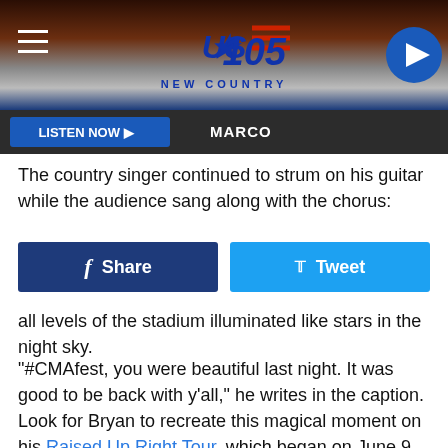[Figure (screenshot): US 105 New Country radio station website header with logo, hamburger menu, and play button]
[Figure (screenshot): Listen Now button bar with MARCO label]
The country singer continued to strum on his guitar while the audience sang along with the chorus:
[Figure (infographic): Facebook Share button and Twitter Tweet button]
all levels of the stadium illuminated like stars in the night sky.
"#CMAfest, you were beautiful last night. It was good to be back with y'all," he writes in the caption.
Look for Bryan to recreate this magical moment on his Raised Up Right Tour, which began on June 9. The Georgia native will hop-scotch across the nation with Riley Green and Mitchell Tenpenny opening. The 21-date trek will wrap on